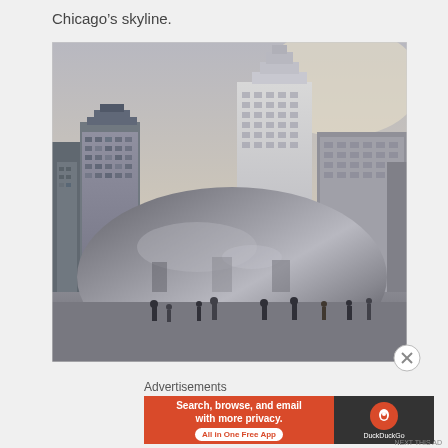Chicago's skyline.
[Figure (photo): Photograph of Cloud Gate (The Bean) sculpture in Millennium Park, Chicago, with Chicago skyline skyscrapers visible in the background. People visible around the base of the reflective sculpture. Sky is overcast/dusk.]
Advertisements
[Figure (other): DuckDuckGo advertisement banner: left side orange with text 'Search, browse, and email with more privacy. All in One Free App'; right side dark with DuckDuckGo logo and name.]